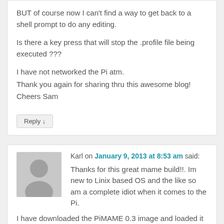BUT of course now I can't find a way to get back to a shell prompt to do any editing.

Is there a key press that will stop the .profile file being executed ???

I have not networked the Pi atm.
Thank you again for sharing thru this awesome blog!
Cheers Sam
Reply ↓
Karl on January 9, 2013 at 8:53 am said:
Thanks for this great mame build!!. Im new to Linix based OS and the like so am a complete idiot when it comes to the Pi. I have downloaded the PiMAME 0.3 image and loaded it to my SD card with 'Win32DiskImager' it loads into AdvMAME menu fine with the free rom game which plays